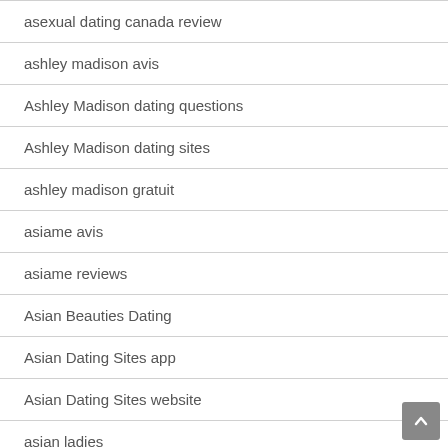asexual dating canada review
ashley madison avis
Ashley Madison dating questions
Ashley Madison dating sites
ashley madison gratuit
asiame avis
asiame reviews
Asian Beauties Dating
Asian Dating Sites app
Asian Dating Sites website
asian ladies
asiandate espa?a
asiandating espa?a